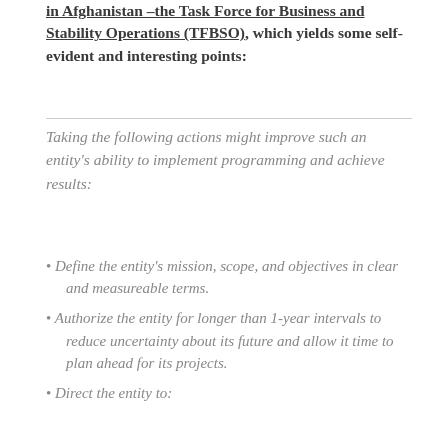in Afghanistan –the Task Force for Business and Stability Operations (TFBSO), which yields some self-evident and interesting points:
Taking the following actions might improve such an entity's ability to implement programming and achieve results:
Define the entity's mission, scope, and objectives in clear and measureable terms.
Authorize the entity for longer than 1-year intervals to reduce uncertainty about its future and allow it time to plan ahead for its projects.
Direct the entity to: